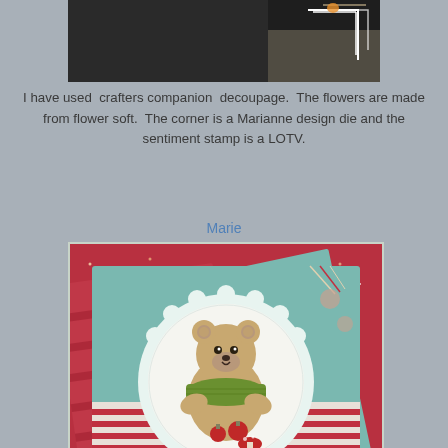[Figure (photo): Top portion of a craft card showing a dark background with white decorative corner elements and ribbon]
I have used  crafters companion  decoupage.  The flowers are made from flower soft.  The corner is a Marianne design die and the sentiment stamp is a LOTV.
Marie
[Figure (photo): A handmade Christmas card featuring a cute bear stamp image in a circle, surrounded by Christmas patterned papers in red and teal with glitter, roses, and a website watermark 'Made by Mi / www.handmade-by-mi.blogspot.com']
Time to dig out the lovely looking LOTV stamps and especially James the